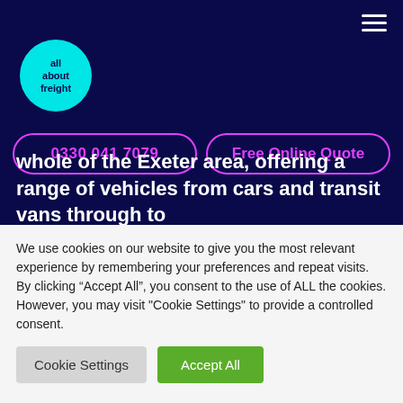[Figure (logo): All About Freight circular cyan logo with dark blue text]
0330 041 7079
Free Online Quote
whole of the Exeter area, offering a range of vehicles from cars and transit vans through to
We use cookies on our website to give you the most relevant experience by remembering your preferences and repeat visits. By clicking “Accept All”, you consent to the use of ALL the cookies. However, you may visit "Cookie Settings" to provide a controlled consent.
Cookie Settings
Accept All